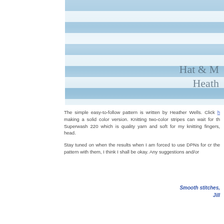[Figure (photo): Close-up photo of a blue and white striped knitted hat with text overlay reading 'Hat & [something] Heath[er]' in the lower right corner]
The simple easy-to-follow pattern is written by Heather Wells. Click [link] making a solid color version. Knitting two-color stripes can wait for th[e] Superwash 220 which is quality yarn and soft for my knitting fingers, [and] head.
Stay tuned on when the results when I am forced to use DPNs for cr[ownwork] the pattern with them, I think I shall be okay. Any suggestions and/or[...]
Smooth stitches,
Jill